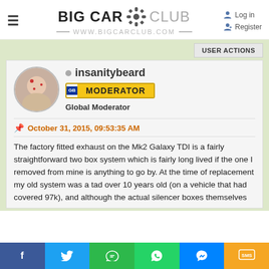BIG CAR CLUB — www.bigcarclub.com — Log in | Register
USER ACTIONS
insanitybeard
MODERATOR
Global Moderator
October 31, 2015, 09:53:35 AM
The factory fitted exhaust on the Mk2 Galaxy TDI is a fairly straightforward two box system which is fairly long lived if the one I removed from mine is anything to go by. At the time of replacement my old system was a tad over 10 years old (on a vehicle that had covered 97k), and although the actual silencer boxes themselves
f  |  Twitter  |  Share  |  WhatsApp  |  Messenger  |  SMS